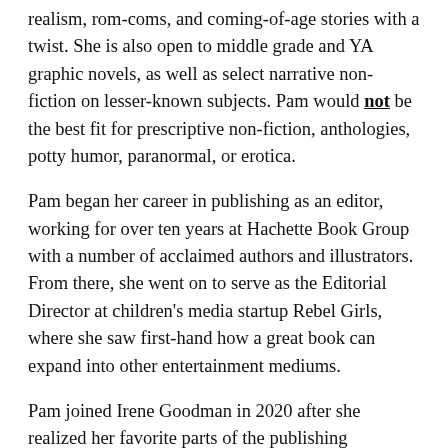realism, rom-coms, and coming-of-age stories with a twist. She is also open to middle grade and YA graphic novels, as well as select narrative non-fiction on lesser-known subjects. Pam would not be the best fit for prescriptive non-fiction, anthologies, potty humor, paranormal, or erotica.
Pam began her career in publishing as an editor, working for over ten years at Hachette Book Group with a number of acclaimed authors and illustrators. From there, she went on to serve as the Editorial Director at children's media startup Rebel Girls, where she saw first-hand how a great book can expand into other entertainment mediums.
Pam joined Irene Goodman in 2020 after she realized her favorite parts of the publishing domain...